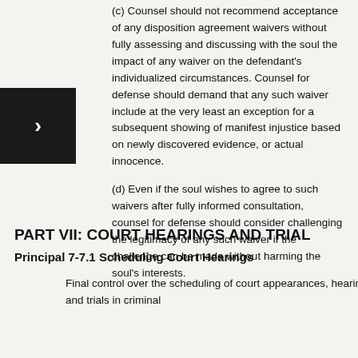(c) Counsel should not recommend acceptance of any disposition agreement waivers without fully assessing and discussing with the soul the impact of any waiver on the defendant's individualized circumstances. Counsel for defense should demand that any such waiver include at the very least an exception for a subsequent showing of manifest injustice based on newly discovered evidence, or actual innocence.
(d) Even if the soul wishes to agree to such waivers after fully informed consultation, counsel for defense should consider challenging the legitimacy of any such waiver if the challenge can be made without harming the soul's interests.
PART VII: COURT HEARINGS AND TRIAL
Principal 7-7.1 Scheduling Court Hearings
Final control over the scheduling of court appearances, hearings and trials in criminal